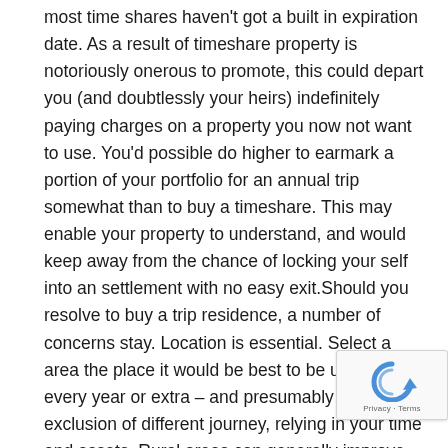most time shares haven't got a built in expiration date. As a result of timeshare property is notoriously onerous to promote, this could depart you (and doubtlessly your heirs) indefinitely paying charges on a property you now not want to use. You'd possible do higher to earmark a portion of your portfolio for an annual trip somewhat than to buy a timeshare. This may enable your property to understand, and would keep away from the chance of locking your self into an settlement with no easy exit.Should you resolve to buy a trip residence, a number of concerns stay. Location is essential. Select a area the place it would be best to be usually – every year or extra – and presumably to the exclusion of different journey, relying in your time and assets. Rural areas can generally improve bills; for instance, insurance coverage could also be extra expensive if you're removed from the closest fireplace station. As we many fascinating trip properties are at elevated threat
[Figure (logo): reCAPTCHA badge with circular arrow icon and Privacy - Terms text]